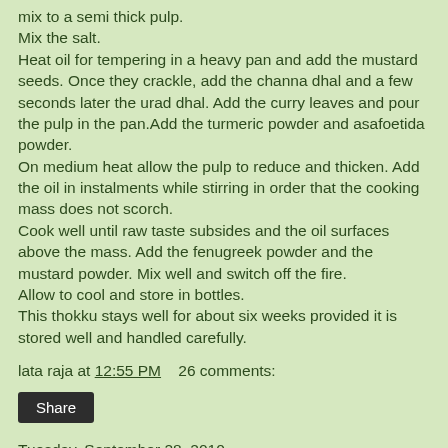mix to a semi thick pulp.
Mix the salt.
Heat oil for tempering in a heavy pan and add the mustard seeds. Once they crackle, add the channa dhal and a few seconds later the urad dhal. Add the curry leaves and pour the pulp in the pan.Add the turmeric powder and asafoetida powder.
On medium heat allow the pulp to reduce and thicken. Add the oil in instalments while stirring in order that the cooking mass does not scorch.
Cook well until raw taste subsides and the oil surfaces above the mass. Add the fenugreek powder and the mustard powder. Mix well and switch off the fire.
Allow to cool and store in bottles.
This thokku stays well for about six weeks provided it is stored well and handled carefully.
lata raja at 12:55 PM    26 comments:
Share
Tuesday, September 28, 2010